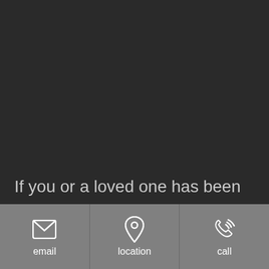[Figure (screenshot): Dark background area representing a mobile app screen with a map or video background]
If you or a loved one has been involved in a motor vehicle accident in Georgia, an accident lawyer with our
[Figure (infographic): Bottom navigation bar with three buttons: email (envelope icon), location (map pin icon), call (phone icon)]